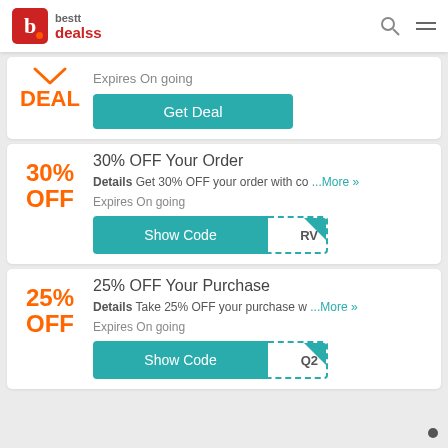bestt dealss
[Figure (logo): bestt dealss logo with red B icon and orange dot]
Expires On going
Get Deal
30% OFF Your Order
Details Get 30% OFF your order with co ...More »
Expires On going
Show Code RV
25% OFF Your Purchase
Details Take 25% OFF your purchase w ...More »
Expires On going
Show Code Q2